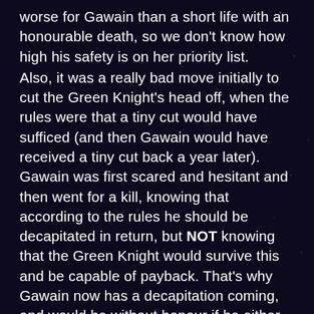worse for Gawain than a short life with an honourable death, so we don't know how high his safety is on her priority list. Also, it was a really bad move initially to cut the Green Knight's head off, when the rules were that a tiny cut would have sufficed (and then Gawain would have received a tiny cut back a year later). Gawain was first scared and hesitant and then went for a kill, knowing that according to the rules he should be decapitated in return, but NOT knowing that the Green Knight would survive this and be capable of payback. That's why Gawain now has a decapitation coming, and would be without honour if he either didn't keep the appointment or used invulnerability magic to escape death.